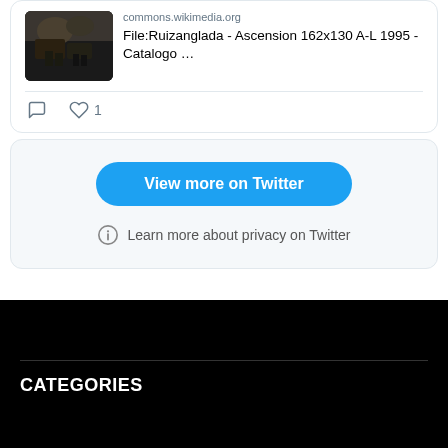[Figure (screenshot): Twitter/social media embedded card showing image thumbnail of a painting and text 'File:Ruizanglada - Ascension 162x130 A-L 1995 - Catalogo ...' with comment and like (1) action icons]
View more on Twitter
Learn more about privacy on Twitter
CATEGORIES